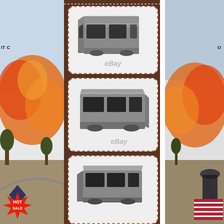[Figure (photo): Three product photos of a gray resin/plastic scale model RC car body (van/truck cab style), shown from different angles on a brown background. Each image has an eBay watermark. Left side shows explosion background image. Right side shows similar explosion/fire background. Bottom left has a HOT SALE badge. Bottom right has US flag stripes.]
IT C
O